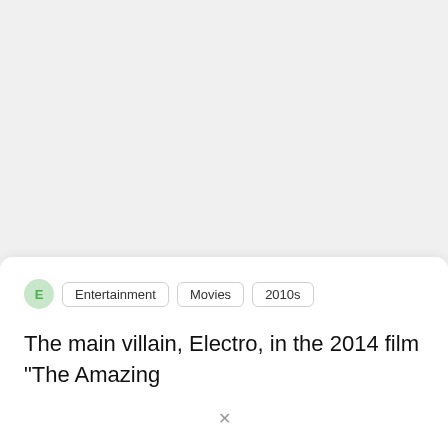E  Entertainment  Movies  2010s
The main villain, Electro, in the 2014 film "The Amazing